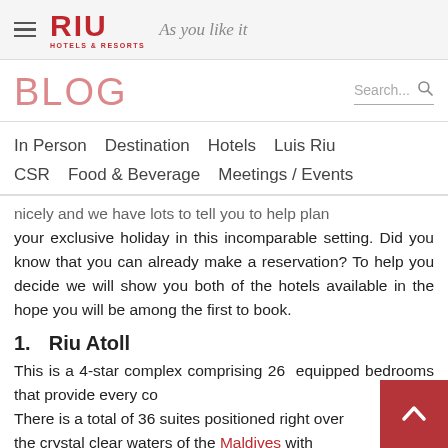RIU Hotels & Resorts — As you like it
BLOG
In Person   Destination   Hotels   Luis Riu   CSR   Food & Beverage   Meetings / Events
nicely and we have lots to tell you to help plan your exclusive holiday in this incomparable setting. Did you know that you can already make a reservation? To help you decide we will show you both of the hotels available in the hope you will be among the first to book.
1.    Riu Atoll
This is a 4-star complex comprising 26 equipped bedrooms that provide every co... There is a total of 36 suites positioned right over the crystal clear waters of the Maldives with